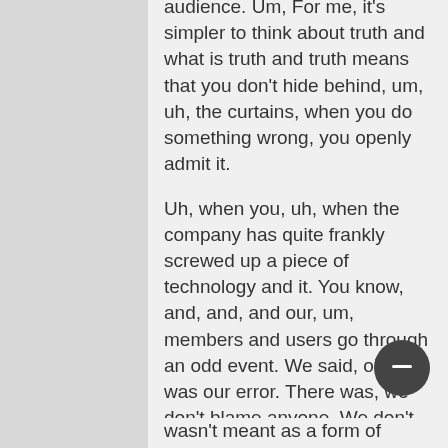audience. Um, For me, it's simpler to think about truth and what is truth and truth means that you don't hide behind, um, uh, the curtains, when you do something wrong, you openly admit it.
Uh, when you, uh, when the company has quite frankly screwed up a piece of technology and it. You know, and, and, and our, um, members and users go through an odd event. We said, okay, it was our error. There was, we don't blame anyone. We don't, we don't go out there and say things like that. And I, and. I'm not sure it wasn't meant as a form of